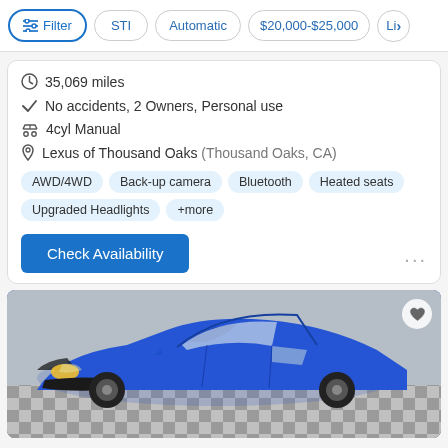Filter | STI | Automatic | $20,000-$25,000 | Li>
35,069 miles
No accidents, 2 Owners, Personal use
4cyl Manual
Lexus of Thousand Oaks (Thousand Oaks, CA)
AWD/4WD | Back-up camera | Bluetooth | Heated seats | Upgraded Headlights | +more
Check Availability
[Figure (photo): Blue Subaru WRX/STI parked on a checkered floor, front 3/4 view, with a heart/favorite icon in top right corner]